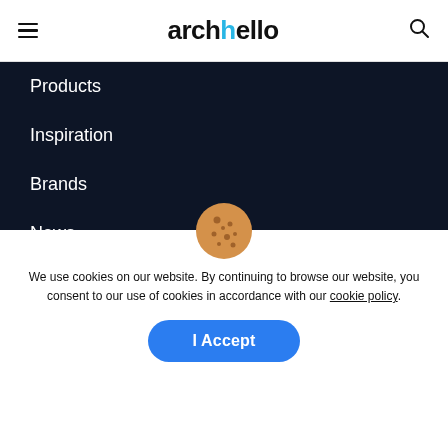archello
Products
Inspiration
Brands
News
Events
Collections
Drawings
We use cookies on our website. By continuing to browse our website, you consent to our use of cookies in accordance with our cookie policy.
I Accept